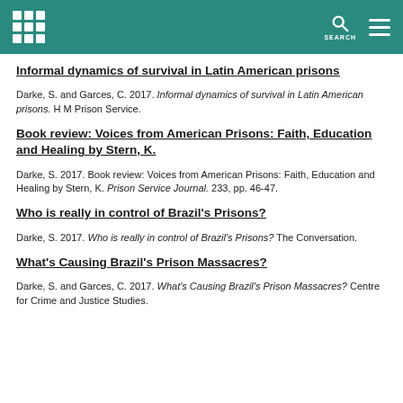Header with logo, search, and menu
Informal dynamics of survival in Latin American prisons
Darke, S. and Garces, C. 2017. Informal dynamics of survival in Latin American prisons. H M Prison Service.
Book review: Voices from American Prisons: Faith, Education and Healing by Stern, K.
Darke, S. 2017. Book review: Voices from American Prisons: Faith, Education and Healing by Stern, K. Prison Service Journal. 233, pp. 46-47.
Who is really in control of Brazil's Prisons?
Darke, S. 2017. Who is really in control of Brazil's Prisons? The Conversation.
What's Causing Brazil's Prison Massacres?
Darke, S. and Garces, C. 2017. What's Causing Brazil's Prison Massacres? Centre for Crime and Justice Studies.